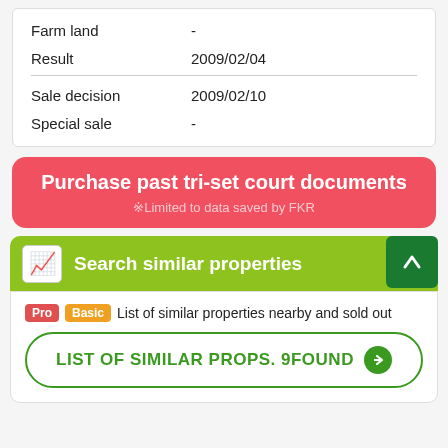| Field | Value |
| --- | --- |
| Farm land | - |
| Result | 2009/02/04 |
| Sale decision | 2009/02/10 |
| Special sale | - |
Purchase past tri-set court documents
※Limited to data saved by FKR
Search similar properties
Pro Basic List of similar properties nearby and sold out
LIST OF SIMILAR PROPS. 9FOUND